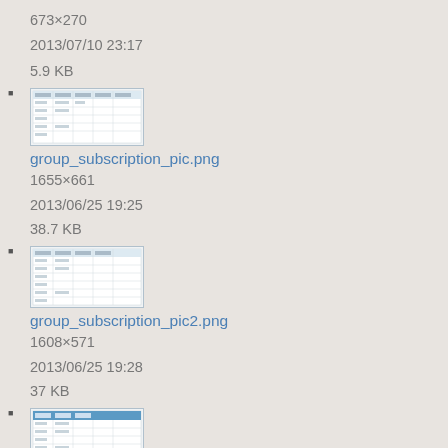673×270
2013/07/10 23:17
5.9 KB
[Figure (screenshot): Thumbnail of a table/spreadsheet image file]
group_subscription_pic.png
1655×661
2013/06/25 19:25
38.7 KB
[Figure (screenshot): Thumbnail of a table/spreadsheet image file]
group_subscription_pic2.png
1608×571
2013/06/25 19:28
37 KB
[Figure (screenshot): Thumbnail of a table/spreadsheet image file]
groupsubscription_pic3.png
1388×579
2014/02/05 00:35
25.5 KB